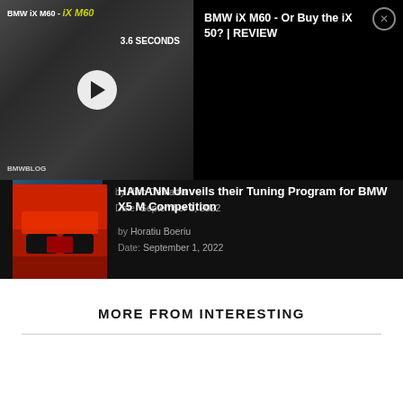[Figure (screenshot): BMW iX M60 video overlay with thumbnail showing car and play button, title 'BMW iX M60 - Or Buy the iX 50? | REVIEW' on black background with close button]
[Figure (photo): Partial thumbnail of a BMW car, blue/grey tones]
by Nico DeMattia
Date: September 1, 2022
[Figure (photo): Red BMW X5 M Competition front view, dramatic lighting]
HAMANN Unveils their Tuning Program for BMW X5 M Competition
by Horatiu Boeriu
Date: September 1, 2022
MORE FROM INTERESTING